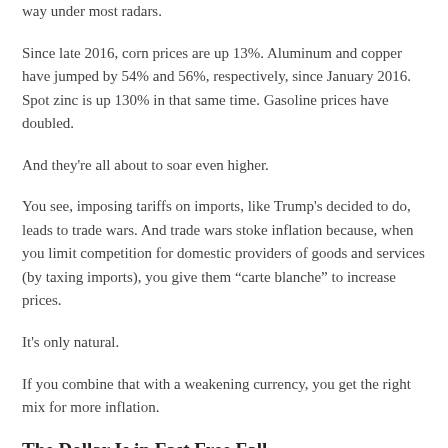way under most radars.
Since late 2016, corn prices are up 13%. Aluminum and copper have jumped by 54% and 56%, respectively, since January 2016. Spot zinc is up 130% in that same time. Gasoline prices have doubled.
And they're all about to soar even higher.
You see, imposing tariffs on imports, like Trump's decided to do, leads to trade wars. And trade wars stoke inflation because, when you limit competition for domestic providers of goods and services (by taxing imports), you give them “carte blanche” to increase prices.
It's only natural.
If you combine that with a weakening currency, you get the right mix for more inflation.
The Dollar Is in Fast Free Fall